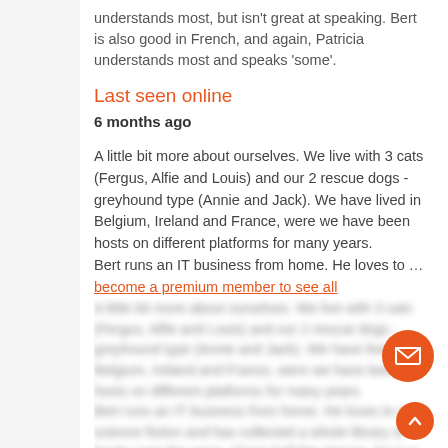understands most, but isn't great at speaking. Bert is also good in French, and again, Patricia understands most and speaks 'some'.
Last seen online
6 months ago
A little bit more about ourselves. We live with 3 cats (Fergus, Alfie and Louis) and our 2 rescue dogs - greyhound type (Annie and Jack). We have lived in Belgium, Ireland and France, were we have been hosts on different platforms for many years.
Bert runs an IT business from home. He loves to … become a premium member to see all